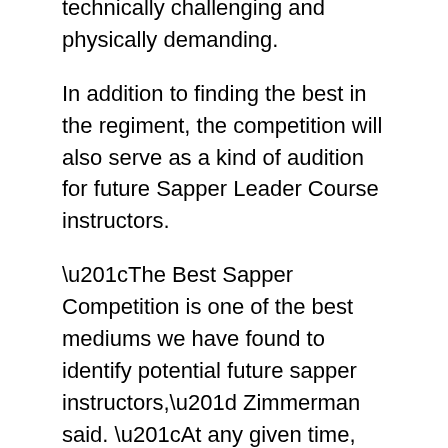technically challenging and physically demanding.
In addition to finding the best in the regiment, the competition will also serve as a kind of audition for future Sapper Leader Course instructors.
“The Best Sapper Competition is one of the best mediums we have found to identify potential future sapper instructors,” Zimmerman said. “At any given time, between a third and one-half of our current sapper instructors have competed in previous competitions.”
Current Sapper Leader Course instructor and competitor in the 2012 Best Sapper Competition, Sgt. 1st Class Stephen Olson said training is the key to success for competing teams.
“Your train up should be for at a minimum of two